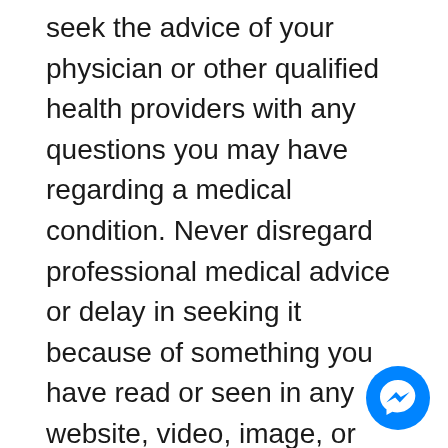seek the advice of your physician or other qualified health providers with any questions you may have regarding a medical condition. Never disregard professional medical advice or delay in seeking it because of something you have read or seen in any website, video, image, or media of any kind. Dr. Farrah® hereby disclaims any and all liability to any party for any direct, indirect, implied, punitive, special, incidental, or other consequential damages arising directly or indirectly from any use of the content, which is provided as is, and without warranties.
[Figure (illustration): Facebook Messenger chat button icon — a blue circle with a white lightning bolt/messenger logo inside, positioned in the bottom-right corner]